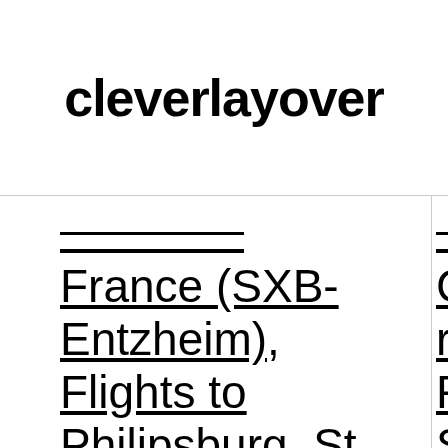cleverlayover
France (SXB-Entzheim), Flights to Philipsburg, St. Maarten (SXM-Princess Juliana)